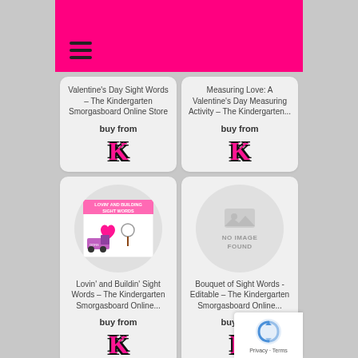Navigation menu (hamburger icon)
Valentine's Day Sight Words – The Kindergarten Smorgasboard Online Store
buy from
[Figure (logo): K logo in pink with black outline]
Measuring Love: A Valentine's Day Measuring Activity – The Kindergarten...
buy from
[Figure (logo): K logo in pink with black outline]
[Figure (photo): Product image: Lovin' and Building Sight Words with a cement truck, heart, and lollipop on pink background]
Lovin' and Buildin' Sight Words – The Kindergarten Smorgasboard Online...
buy from
[Figure (logo): K logo in pink with black outline]
[Figure (photo): No image found placeholder]
Bouquet of Sight Words - Editable – The Kindergarten Smorgasboard Online...
buy from
[Figure (logo): K logo in pink with black outline]